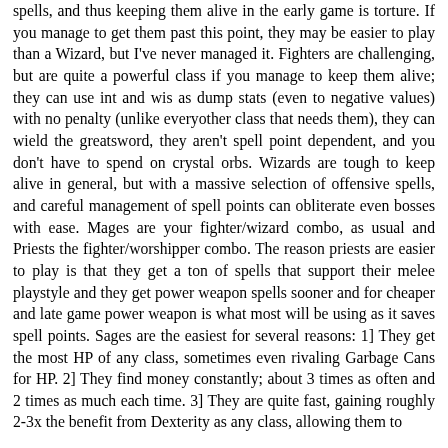spells, and thus keeping them alive in the early game is torture. If you manage to get them past this point, they may be easier to play than a Wizard, but I've never managed it. Fighters are challenging, but are quite a powerful class if you manage to keep them alive; they can use int and wis as dump stats (even to negative values) with no penalty (unlike everyother class that needs them), they can wield the greatsword, they aren't spell point dependent, and you don't have to spend on crystal orbs. Wizards are tough to keep alive in general, but with a massive selection of offensive spells, and careful management of spell points can obliterate even bosses with ease. Mages are your fighter/wizard combo, as usual and Priests the fighter/worshipper combo. The reason priests are easier to play is that they get a ton of spells that support their melee playstyle and they get power weapon spells sooner and for cheaper and late game power weapon is what most will be using as it saves spell points. Sages are the easiest for several reasons: 1] They get the most HP of any class, sometimes even rivaling Garbage Cans for HP. 2] They find money constantly; about 3 times as often and 2 times as much each time. 3] They are quite fast, gaining roughly 2-3x the benefit from Dexterity as any class, allowing them to